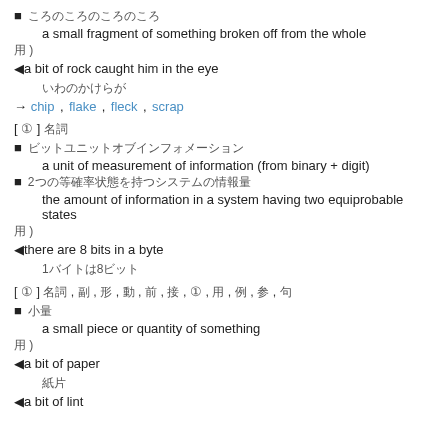■ [CJK characters] a small fragment of something broken off from the whole
[CJK] )
◀a bit of rock caught him in the eye
[CJK characters]
→ chip , flake , fleck , scrap
[ ① ] [CJK] , [CJK] , [CJK] , [CJK]
■ [CJK characters] a unit of measurement of information (from binary + digit)
■ 2[CJK characters] the amount of information in a system having two equiprobable states
[CJK] )
◀there are 8 bits in a byte
1[CJK]8[CJK]
[ ① ] [CJK] , [CJK] , [CJK] , [CJK] , [CJK] , [CJK] , ① , [CJK] , [CJK] , [CJK] , [CJK]
■ [CJK] a small piece or quantity of something
[CJK] )
◀a bit of paper
[CJK]
◀a bit of lint